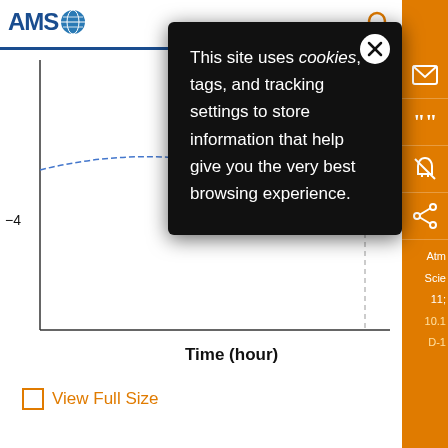[Figure (screenshot): AMS (American Meteorological Society) website header with blue logo and horizontal blue rule, partially obscured by cookie consent modal. Background shows a scientific chart with axis label 'Time (hour)' and tick mark '40'. Right sidebar is orange with icons for email, cite, alerts, and share.]
This site uses cookies, tags, and tracking settings to store information that help give you the very best browsing experience.
View Full Size
Atm
Scie
11;
10.1
D-1
F